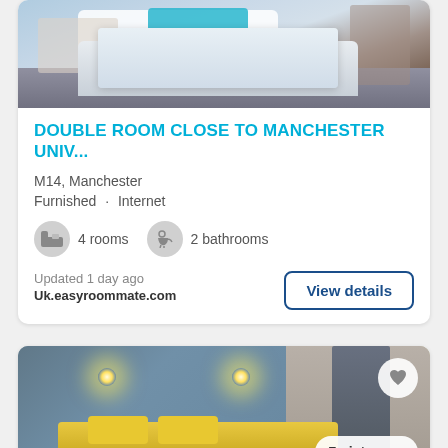[Figure (photo): Bedroom photo showing a made bed with teal/turquoise pillows and white bedding]
DOUBLE ROOM CLOSE TO MANCHESTER UNIV...
M14, Manchester
Furnished · Internet
4 rooms  2 bathrooms
Updated 1 day ago
Uk.easyroommate.com
View details
[Figure (photo): Bedroom photo with grey walls, two wall lights, yellow/gold bed headboard and yellow pillows, door visible on right side]